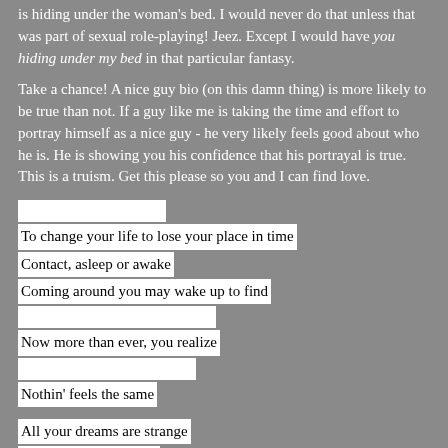is hiding under the woman's bed. I would never do that unless that was part of sexual role-playing! Jeez. Except I would have you hiding under my bed in that particular fantasy.
Take a chance! A nice guy bio (on this damn thing) is more likely to be true than not. If a guy like me is taking the time and effort to portray himself as a nice guy - he very likely feels good about who he is. He is showing you his confidence that his portrayal is true. This is a truism. Get this please so you and I can find love.
[redacted]
To change your life to lose your place in time
Contact, asleep or awake
Coming around you may wake up to find
[redacted]
Now more than ever, you realize
[redacted]
Nothin' feels the same
All your dreams are strange
Love comes walkin' in